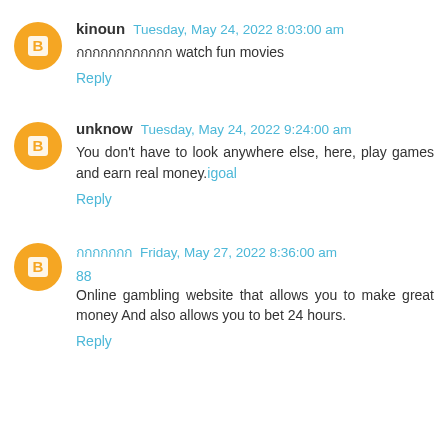kinoun  Tuesday, May 24, 2022 8:03:00 am
กกกกกกกกกกกก watch fun movies
Reply
unknow  Tuesday, May 24, 2022 9:24:00 am
You don't have to look anywhere else, here, play games and earn real money.igoal
Reply
กกกกกกก  Friday, May 27, 2022 8:36:00 am
88
Online gambling website that allows you to make great money And also allows you to bet 24 hours.
Reply